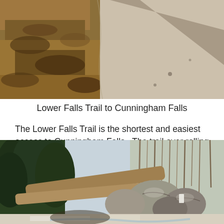[Figure (photo): Aerial or ground-level photo of a trail with dried leaves on the left side and gravel/pavement path on the right, with a shadow cast diagonally across the path.]
Lower Falls Trail to Cunningham Falls
The Lower Falls Trail is the shortest and easiest access to Cunningham Falls.  The trail over rolling terrain is 0.5 miles long and terminates at a platform observation deck that provides a view of Cunningham Falls.
[Figure (photo): Photo of a rocky forest scene with large boulders, fallen trees, and evergreen trees, with a thin stream or ice visible at the base — likely Cunningham Falls area.]